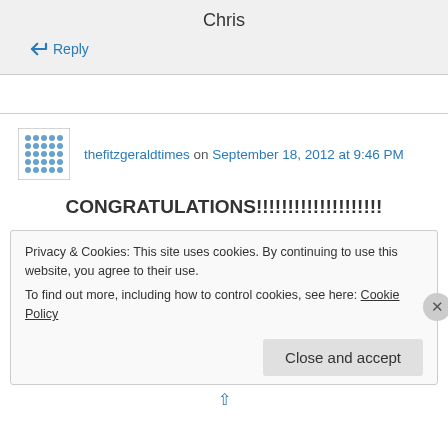Chris
↳ Reply
thefitzgeraldtimes on September 18, 2012 at 9:46 PM
CONGRATULATIONS!!!!!!!!!!!!!!!!!!!
Privacy & Cookies: This site uses cookies. By continuing to use this website, you agree to their use. To find out more, including how to control cookies, see here: Cookie Policy
Close and accept